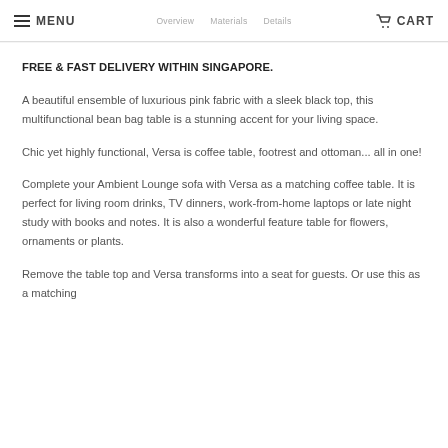MENU  Overview  Materials  Details  CART
FREE & FAST DELIVERY WITHIN SINGAPORE.
A beautiful ensemble of luxurious pink fabric with a sleek black top, this multifunctional bean bag table is a stunning accent for your living space.
Chic yet highly functional, Versa is coffee table, footrest and ottoman... all in one!
Complete your Ambient Lounge sofa with Versa as a matching coffee table. It is perfect for living room drinks, TV dinners, work-from-home laptops or late night study with books and notes. It is also a wonderful feature table for flowers, ornaments or plants.
Remove the table top and Versa transforms into a seat for guests. Or use this as a matching